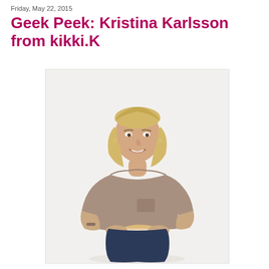Friday, May 22, 2015
Geek Peek: Kristina Karlsson from kikki.K
[Figure (photo): Portrait photo of Kristina Karlsson, a blonde woman in a tan/beige long-sleeve top and dark jeans, seated on a wooden stool, smiling, against a white/light grey background.]